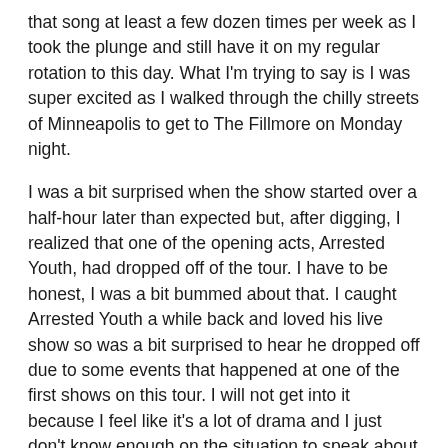that song at least a few dozen times per week as I took the plunge and still have it on my regular rotation to this day. What I'm trying to say is I was super excited as I walked through the chilly streets of Minneapolis to get to The Fillmore on Monday night.
I was a bit surprised when the show started over a half-hour later than expected but, after digging, I realized that one of the opening acts, Arrested Youth, had dropped off of the tour. I have to be honest, I was a bit bummed about that. I caught Arrested Youth a while back and loved his live show so was a bit surprised to hear he dropped off due to some events that happened at one of the first shows on this tour. I will not get into it because I feel like it's a lot of drama and I just don't know enough on the situation to speak about it but no need to fear– even though there were only two bands that performed on Monday, there was no lack of energy or power.
Phem was the sole opening on the show. I thought I had never heard of this act before but, within the first song, I recognized their/her distinct sound as being one that I been on some of my...